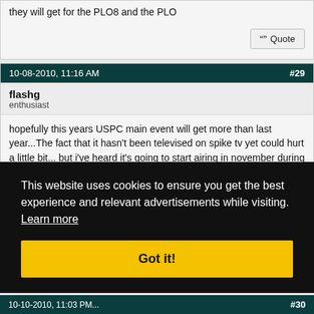they will get for the PLO8 and the PLO
Quote
10-08-2010, 11:16 AM  #29
flashg
enthusiast
hopefully this years USPC main event will get more than last year...The fact that it hasn't been televised on spike tv yet could hurt a little bit... but i've heard it's going to start airing in november during the start of this years USPC...
This website uses cookies to ensure you get the best experience and relevant advertisements while visiting. Learn more
Got it!
#30